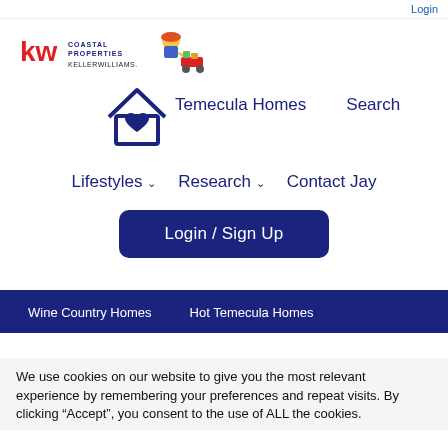Login
[Figure (logo): Keller Williams Coastal Properties logo with KW branding and cartoon character pulling a wagon]
[Figure (illustration): House icon with a heart inside, dark navy blue outline]
Temecula Homes
Search
Lifestyles
Research
Contact Jay
Login / Sign Up
Wine Country Homes   Hot Temecula Homes
We use cookies on our website to give you the most relevant experience by remembering your preferences and repeat visits. By clicking “Accept”, you consent to the use of ALL the cookies.